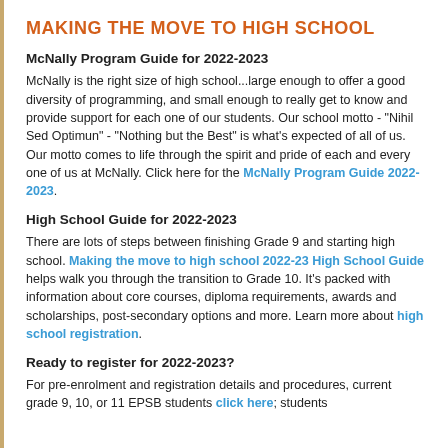MAKING THE MOVE TO HIGH SCHOOL
McNally Program Guide for 2022-2023
McNally is the right size of high school...large enough to offer a good diversity of programming, and small enough to really get to know and provide support for each one of our students. Our school motto - "Nihil Sed Optimun" - "Nothing but the Best" is what's expected of all of us. Our motto comes to life through the spirit and pride of each and every one of us at McNally. Click here for the McNally Program Guide 2022-2023.
High School Guide for 2022-2023
There are lots of steps between finishing Grade 9 and starting high school. Making the move to high school 2022-23 High School Guide helps walk you through the transition to Grade 10. It's packed with information about core courses, diploma requirements, awards and scholarships, post-secondary options and more. Learn more about high school registration.
Ready to register for 2022-2023?
For pre-enrolment and registration details and procedures, current grade 9, 10, or 11 EPSB students click here; students who are new to the school division click here.